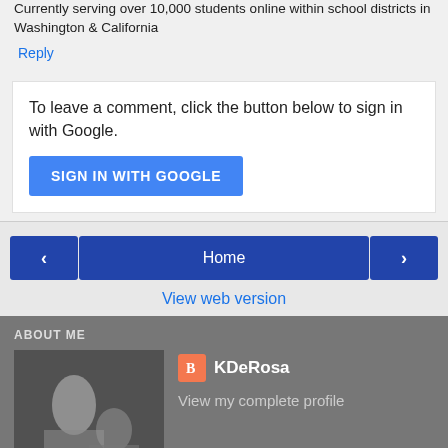Currently serving over 10,000 students online within school districts in Washington & California
Reply
To leave a comment, click the button below to sign in with Google.
SIGN IN WITH GOOGLE
Home
View web version
ABOUT ME
KDeRosa
View my complete profile
Powered by Blogger.